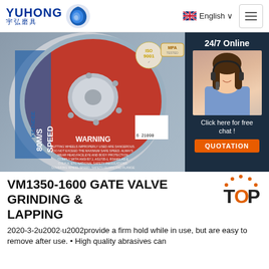[Figure (logo): YUHONG logo with Chinese characters 宇弘磨具 and blue wave/shark icon]
English ∨
[Figure (photo): Grinding/cutting wheel disc product image (KEENDEE brand, red disc, speed 80M/S, warning text visible), with 24/7 Online chat agent sidebar on the right]
VM1350-1600 GATE VALVE GRINDING & LAPPING
2020-3-2u2002·u2002provide a firm hold while in use, but are easy to remove after use. • High quality abrasives can